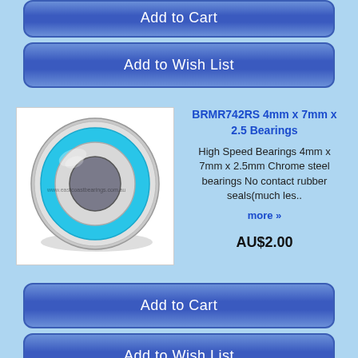[Figure (other): Blue 'Add to Cart' button (partially visible at top)]
[Figure (other): Blue 'Add to Wish List' button]
[Figure (photo): Product photo of BRMR742RS bearing - a blue rubber sealed chrome steel ball bearing, 4mm x 7mm x 2.5mm]
BRMR742RS 4mm x 7mm x 2.5 Bearings
High Speed Bearings 4mm x 7mm x 2.5mm Chrome steel bearings No contact rubber seals(much les..
more »
AU$2.00
[Figure (other): Blue 'Add to Cart' button]
[Figure (other): Blue 'Add to Wish List' button]